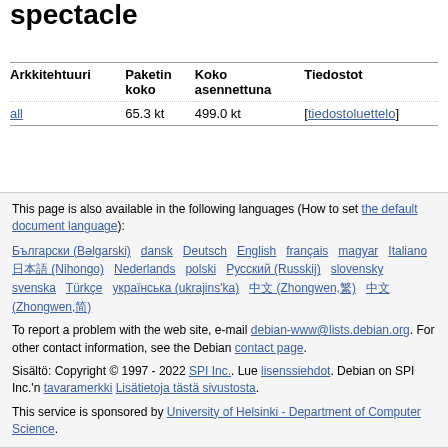spectacle
| Arkkitehtuuri | Paketin koko | Koko asennettuna | Tiedostot |
| --- | --- | --- | --- |
| all | 65.3 kt | 499.0 kt | [tiedostoluettelo] |
This page is also available in the following languages (How to set the default document language):
Български (Bəlgarski) dansk Deutsch English français magyar Italiano 日本語 (Nihongo) Nederlands polski Русский (Russkij) slovensky svenska Türkçe українська (ukrajins'ka) 中文 (Zhongwen,繁) 中文 (Zhongwen,简)
To report a problem with the web site, e-mail debian-www@lists.debian.org. For other contact information, see the Debian contact page.
Sisältö: Copyright © 1997 - 2022 SPI Inc.. Lue lisenssiehdot. Debian on SPI Inc.'n tavaramerkki Lisätietoja tästä sivustosta.
This service is sponsored by University of Helsinki - Department of Computer Science.